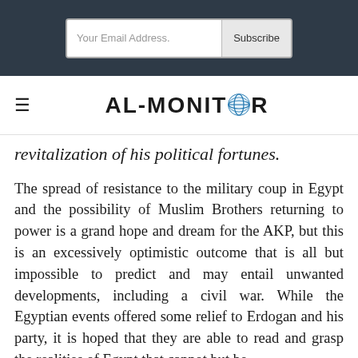[Figure (other): Email subscription bar with 'Your Email Address.' input field and 'Subscribe' button on dark navy background]
[Figure (logo): AL-MONITOR logo with globe icon replacing the O, with hamburger menu icon on the left]
revitalization of his political fortunes.
The spread of resistance to the military coup in Egypt and the possibility of Muslim Brothers returning to power is a grand hope and dream for the AKP, but this is an excessively optimistic outcome that is all but impossible to predict and may entail unwanted developments, including a civil war. While the Egyptian events offered some relief to Erdogan and his party, it is hoped that they are able to read and grasp the realities of Egypt that cannot but be